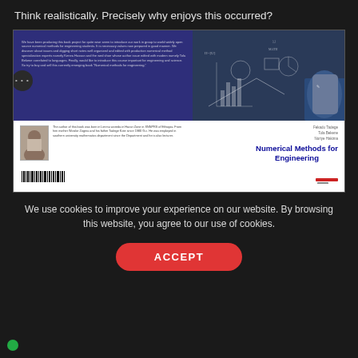Think realistically. Precisely why enjoys this occurred?
[Figure (photo): Book cover for 'Numerical Methods for Engineering' by Fekadu Tadege, Tola Bekene, Nuriye Hakima. Top half shows dark blue/indigo background with small text paragraph on left and a chalkboard image with mathematical diagrams on the right. A hand is writing on the chalkboard. Bottom half is white, showing an author photo on the left with a short biography, and the book title 'Numerical Methods for Engineering' in bold blue text on the right. Author names appear at top right of white section. A barcode is at bottom left of the white section. Navigation dots visible on left side.]
We use cookies to improve your experience on our website. By browsing this website, you agree to our use of cookies.
ACCEPT